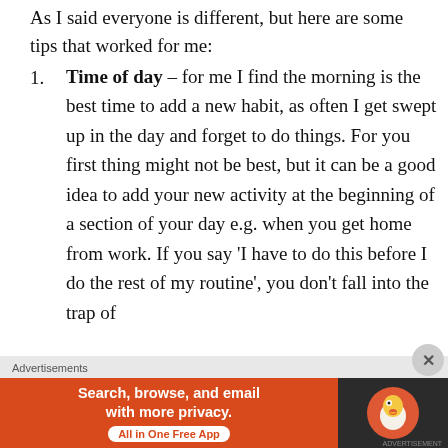As I said everyone is different, but here are some tips that worked for me:
Time of day – for me I find the morning is the best time to add a new habit, as often I get swept up in the day and forget to do things. For you first thing might not be best, but it can be a good idea to add your new activity at the beginning of a section of your day e.g. when you get home from work. If you say ‘I have to do this before I do the rest of my routine’, you don’t fall into the trap of
Advertisements
[Figure (other): DuckDuckGo advertisement banner: 'Search, browse, and email with more privacy. All in One Free App' on orange background, with DuckDuckGo logo on dark background.]